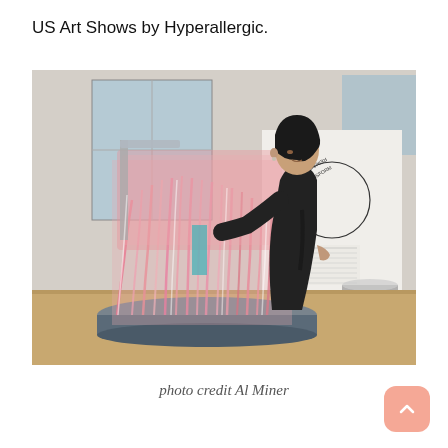US Art Shows by Hyperallergic.
[Figure (photo): A woman dressed in black leans forward to closely examine a large sculptural artwork made of pink and white beaded or tangled material cascading from a frame. The setting is a museum gallery with white walls displaying circular text signage and another sculpture on a platform in the background.]
photo credit Al Miner